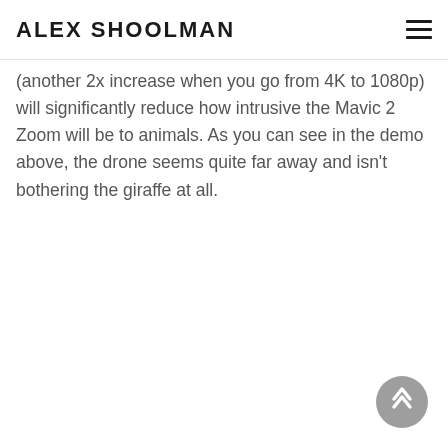ALEX SHOOLMAN
(another 2x increase when you go from 4K to 1080p) will significantly reduce how intrusive the Mavic 2 Zoom will be to animals. As you can see in the demo above, the drone seems quite far away and isn't bothering the giraffe at all.